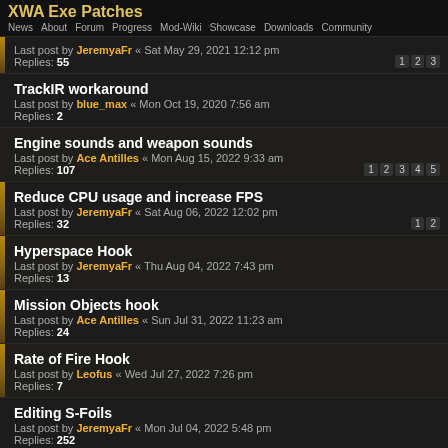XWA Exe Patches - News About Forum Progress Mod-Wiki Showcase Downloads Community
Last post by JeremyaFr « Sat May 29, 2021 12:12 pm
Replies: 55
Pages: 1 2 3
TrackIR workaround
Last post by blue_max « Mon Oct 19, 2020 7:56 am
Replies: 2
Engine sounds and weapon sounds
Last post by Ace Antilles « Mon Aug 15, 2022 9:33 am
Replies: 107
Pages: 1 2 3 4 5
Reduce CPU usage and increase FPS
Last post by JeremyaFr « Sat Aug 06, 2022 12:02 pm
Replies: 32
Pages: 1 2
Hyperspace Hook
Last post by JeremyaFr « Thu Aug 04, 2022 7:43 pm
Replies: 13
Mission Objects hook
Last post by Ace Antilles « Sun Jul 31, 2022 11:23 am
Replies: 24
Rate of Fire Hook
Last post by Leofus « Wed Jul 27, 2022 7:26 pm
Replies: 7
Editing S-Foils
Last post by JeremyaFr « Mon Jul 04, 2022 5:48 pm
Replies: 252